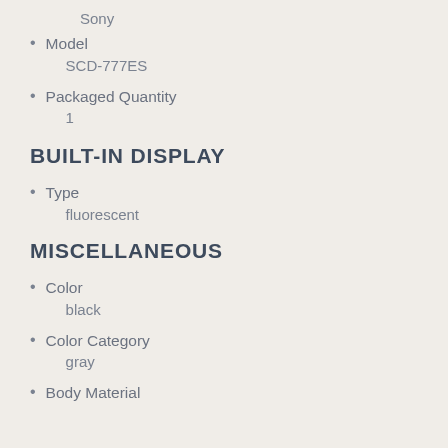Sony
Model
SCD-777ES
Packaged Quantity
1
BUILT-IN DISPLAY
Type
fluorescent
MISCELLANEOUS
Color
black
Color Category
gray
Body Material